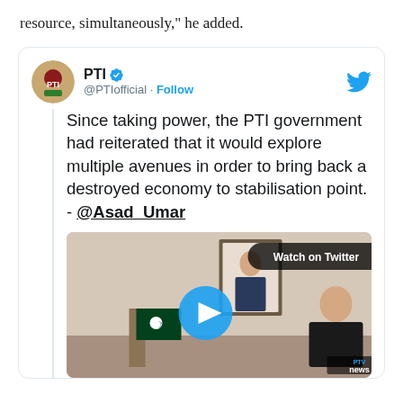resource, simultaneously," he added.
[Figure (screenshot): Embedded tweet from PTI (@PTIofficial) with verified badge and Follow button. Tweet text: 'Since taking power, the PTI government had reiterated that it would explore multiple avenues in order to bring back a destroyed economy to stabilisation point. - @Asad_Umar'. Includes a video thumbnail with Watch on Twitter badge and PTV News logo.]